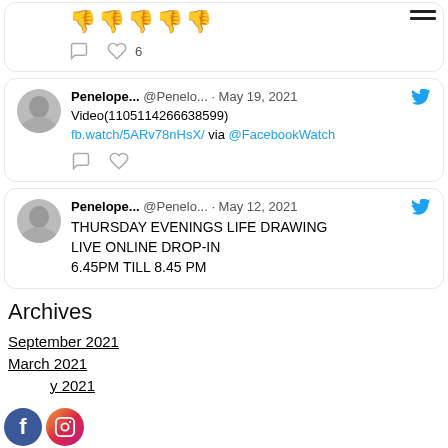[Figure (screenshot): Partial tweet card showing thumbs down emojis and like count of 6]
[Figure (screenshot): Tweet by Penelope... @Penelo... May 19, 2021: Video(1105114266638599) fb.watch/5ARv78nHsX/ via @FacebookWatch]
[Figure (screenshot): Tweet by Penelope... @Penelo... May 12, 2021: THURSDAY EVENINGS LIFE DRAWING LIVE ONLINE DROP-IN 6.45PM TILL 8.45 PM]
Archives
September 2021
March 2021
February 2021